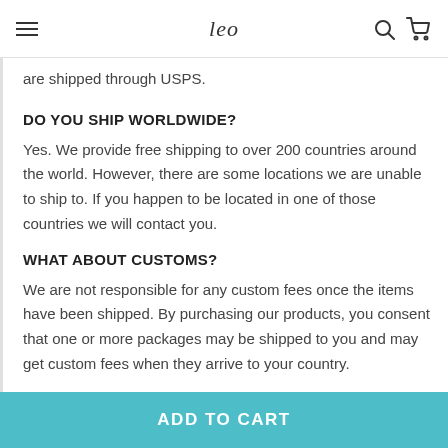Leo
are shipped through USPS.
DO YOU SHIP WORLDWIDE?
Yes. We provide free shipping to over 200 countries around the world. However, there are some locations we are unable to ship to. If you happen to be located in one of those countries we will contact you.
WHAT ABOUT CUSTOMS?
We are not responsible for any custom fees once the items have been shipped. By purchasing our products, you consent that one or more packages may be shipped to you and may get custom fees when they arrive to your country.
ADD TO CART